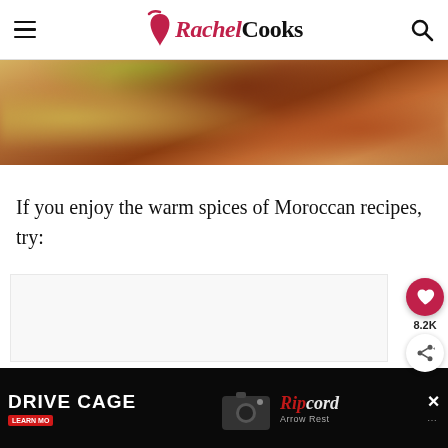Rachel Cooks
[Figure (photo): Blurred close-up photo of Moroccan food with warm orange and amber tones]
If you enjoy the warm spices of Moroccan recipes, try:
[Figure (other): Empty white content area placeholder with heart/save button showing 8.2K saves and a share button]
[Figure (other): Advertisement banner: Drive Cage with Ripcord Arrow Rest product, black background with red branding]